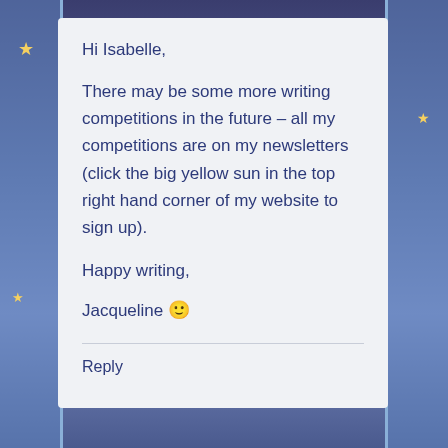Hi Isabelle,
There may be some more writing competitions in the future – all my competitions are on my newsletters (click the big yellow sun in the top right hand corner of my website to sign up).
Happy writing,
Jacqueline 🙂
Reply